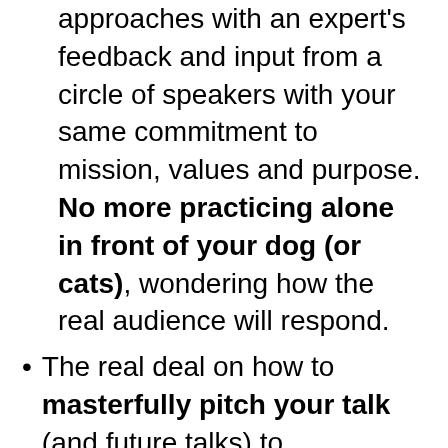approaches with an expert's feedback and input from a circle of speakers with your same commitment to mission, values and purpose. No more practicing alone in front of your dog (or cats), wondering how the real audience will respond.
The real deal on how to masterfully pitch your talk (and future talks) to organizers, decision makers, and producers. Learn the difference between a Keynote versus TED-style talk—and how to pitch both.